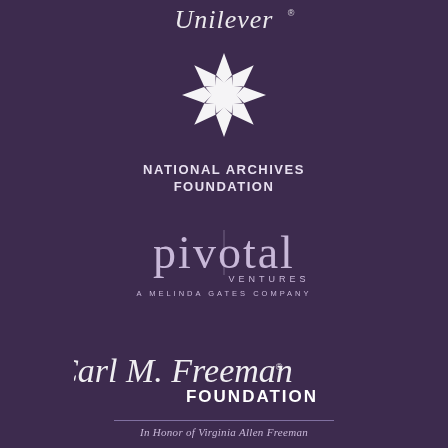[Figure (logo): Unilever script logo in white at top of page]
[Figure (logo): National Archives Foundation logo — white snowflake/star emblem above bold white text NATIONAL ARCHIVES FOUNDATION]
[Figure (logo): Pivotal Ventures — A Melinda Gates Company logo in muted lavender-white serif type]
[Figure (logo): Carl M. Freeman Foundation script logo in white with FOUNDATION in bold, followed by a horizontal rule and italic text 'In Honor of Virginia Allen Freeman']